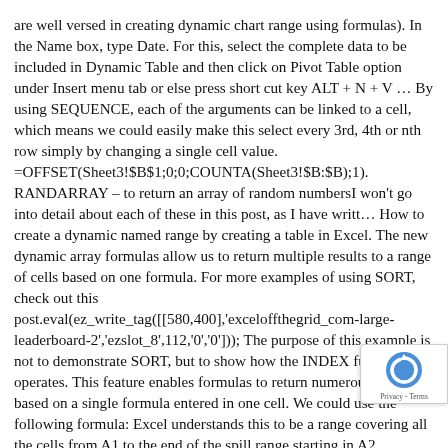are well versed in creating dynamic chart range using formulas). In the Name box, type Date. For this, select the complete data to be included in Dynamic Table and then click on Pivot Table option under Insert menu tab or else press short cut key ALT + N + V … By using SEQUENCE, each of the arguments can be linked to a cell, which means we could easily make this select every 3rd, 4th or nth row simply by changing a single cell value. =OFFSET(Sheet3!$B$1;0;0;COUNTA(Sheet3!$B:$B);1). RANDARRAY – to return an array of random numbersI won't go into detail about each of these in this post, as I have writt… How to create a dynamic named range by creating a table in Excel. The new dynamic array formulas allow us to return multiple results to a range of cells based on one formula. For more examples of using SORT, check out this post.eval(ez_write_tag([[580,400],'exceloffthegrid_com-large-leaderboard-2','ezslot_8',112,'0','0'])); The purpose of this example is not to demonstrate SORT, but to show how the INDEX function operates. This feature enables formulas to return numerous results based on a single formula entered in one cell. We could use the following formula: Excel understands this to be a range covering all the cells from A1 to the end of the spill range starting in A2. Whenever you write a formula in dynamic array formula aware Excel, it determines if the formula has the potential to return multiple values (even if it currently only returning one value advantages of Excel Dynamic Ranges. In cell F2, I've entered Total, and in cell G2, I've added the following formula: Hopefully
[Figure (other): reCAPTCHA badge/widget with blue circular arrow icon and 'Privacy - Terms' text]